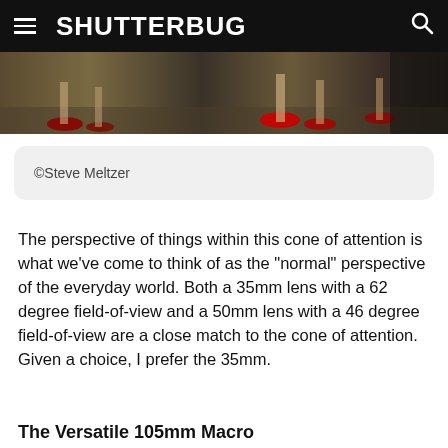SHUTTERBUG
[Figure (photo): Cropped photo showing feet and shoes on a textured floor surface, appearing to be a dance or performance setting]
©Steve Meltzer
The perspective of things within this cone of attention is what we've come to think of as the "normal" perspective of the everyday world. Both a 35mm lens with a 62 degree field-of-view and a 50mm lens with a 46 degree field-of-view are a close match to the cone of attention. Given a choice, I prefer the 35mm.
The Versatile 105mm Macro